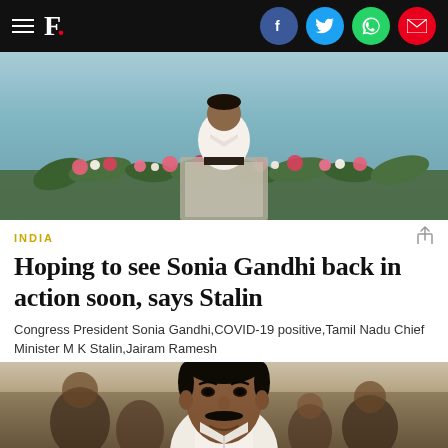F. [The Free Press Journal logo with social share icons: Facebook, Twitter, WhatsApp, Email]
[Figure (photo): A person in a white shirt speaking at a podium with a microphone, decorated with a colorful floral arrangement in the foreground, against a light blue background.]
INDIA
Hoping to see Sonia Gandhi back in action soon, says Stalin
Congress President Sonia Gandhi,COVID-19 positive,Tamil Nadu Chief Minister M K Stalin,Jairam Ramesh
[Figure (photo): Portrait of M K Stalin, Tamil Nadu Chief Minister, smiling, wearing a white shirt, with people in the background.]